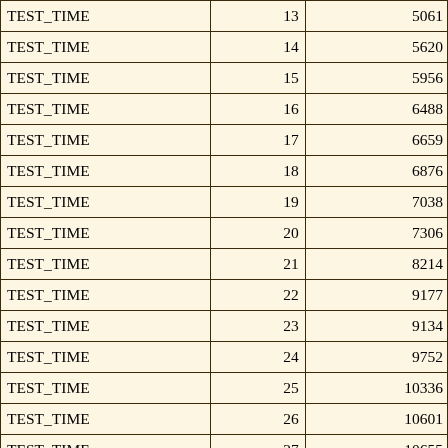| TEST_TIME | 13 | 5061 |
| TEST_TIME | 14 | 5620 |
| TEST_TIME | 15 | 5956 |
| TEST_TIME | 16 | 6488 |
| TEST_TIME | 17 | 6659 |
| TEST_TIME | 18 | 6876 |
| TEST_TIME | 19 | 7038 |
| TEST_TIME | 20 | 7306 |
| TEST_TIME | 21 | 8214 |
| TEST_TIME | 22 | 9177 |
| TEST_TIME | 23 | 9134 |
| TEST_TIME | 24 | 9752 |
| TEST_TIME | 25 | 10336 |
| TEST_TIME | 26 | 10601 |
| TEST_TIME | 27 | 10655 |
| TEST_TIME | 28 | 10378 |
| TEST_TIME | 29 | 10320 |